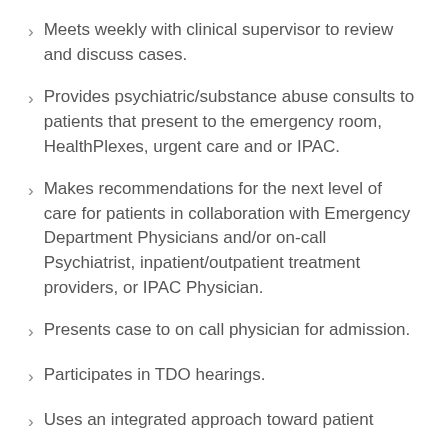Meets weekly with clinical supervisor to review and discuss cases.
Provides psychiatric/substance abuse consults to patients that present to the emergency room, HealthPlexes, urgent care and or IPAC.
Makes recommendations for the next level of care for patients in collaboration with Emergency Department Physicians and/or on-call Psychiatrist, inpatient/outpatient treatment providers, or IPAC Physician.
Presents case to on call physician for admission.
Participates in TDO hearings.
Uses an integrated approach toward patient